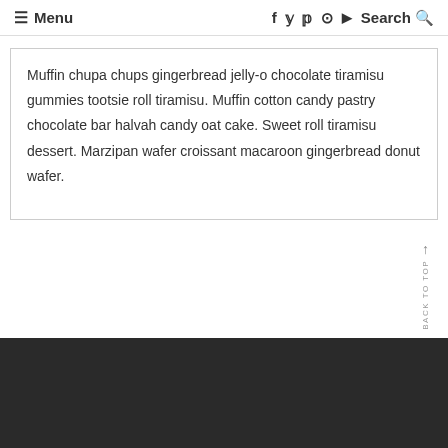☰ Menu   f  y  p  ⊙  ▶  Search 🔍
Muffin chupa chups gingerbread jelly-o chocolate tiramisu gummies tootsie roll tiramisu. Muffin cotton candy pastry chocolate bar halvah candy oat cake. Sweet roll tiramisu dessert. Marzipan wafer croissant macaroon gingerbread donut wafer.
BACK TO TOP ↑